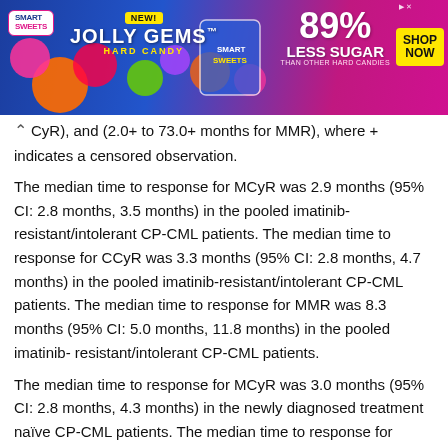[Figure (photo): SmartSweets Jolly Gems Hard Candy advertisement banner. Blue and pink gradient background with colorful candy graphics. Text reads: NEW! JOLLY GEMS HARD CANDY, SMART SWEETS, 89% LESS SUGAR THAN OTHER HARD CANDIES, SHOP NOW. Sponsored ad with close button.]
CyR), and (2.0+ to 73.0+ months for MMR), where + indicates a censored observation.
The median time to response for MCyR was 2.9 months (95% CI: 2.8 months, 3.5 months) in the pooled imatinib-resistant/intolerant CP-CML patients. The median time to response for CCyR was 3.3 months (95% CI: 2.8 months, 4.7 months) in the pooled imatinib-resistant/intolerant CP-CML patients. The median time to response for MMR was 8.3 months (95% CI: 5.0 months, 11.8 months) in the pooled imatinib- resistant/intolerant CP-CML patients.
The median time to response for MCyR was 3.0 months (95% CI: 2.8 months, 4.3 months) in the newly diagnosed treatment naïve CP-CML patients. The median time to response for CCyR was 5.5 months (95% CI: 3.0 months, 5.7 months) in the newly diagnosed treatment-naïve CP-CML patients. The median time to response for MMR was 8.9 months (95% CI: 6.2 months, 11.7 months) in the newly diagnosed treatment-naïve CP-CML